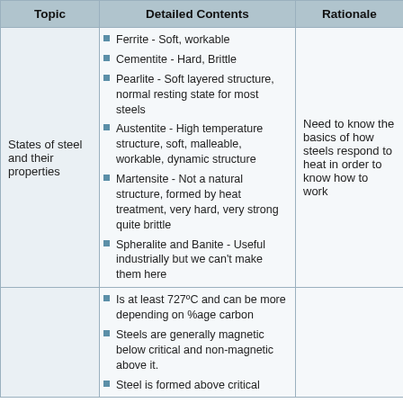| Topic | Detailed Contents | Rationale |
| --- | --- | --- |
| States of steel and their properties | Ferrite - Soft, workable | Cementite - Hard, Brittle | Pearlite - Soft layered structure, normal resting state for most steels | Austentite - High temperature structure, soft, malleable, workable, dynamic structure | Martensite - Not a natural structure, formed by heat treatment, very hard, very strong quite brittle | Spheralite and Banite - Useful industrially but we can't make them here | Need to know the basics of how steels respond to heat in order to know how to work |
|  | Is at least 727ºC and can be more depending on %age carbon | Steels are generally magnetic below critical and non-magnetic above it. | Steel is formed above critical |  |